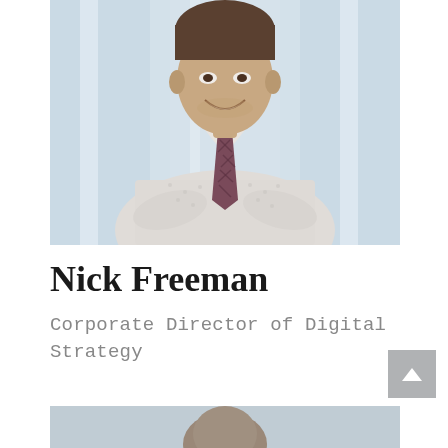[Figure (photo): Professional headshot of a young man in a white patterned dress shirt and dark plaid tie, arms crossed, smiling, with a blurred office corridor background]
Nick Freeman
Corporate Director of Digital Strategy
[Figure (photo): Partial view of a second person's photo at the bottom of the page, cropped — only the top of the head visible]